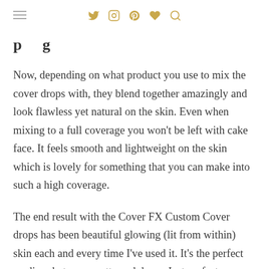☰ [twitter] [instagram] [pinterest] [heart] [search]
Now, depending on what product you use to mix the cover drops with, they blend together amazingly and look flawless yet natural on the skin. Even when mixing to a full coverage you won't be left with cake face. It feels smooth and lightweight on the skin which is lovely for something that you can make into such a high coverage.
The end result with the Cover FX Custom Cover drops has been beautiful glowing (lit from within) skin each and every time I've used it. It's the perfect medium between matte and dewy. Just perfect luminous skin all day. I can't fault this product and praise it constantly